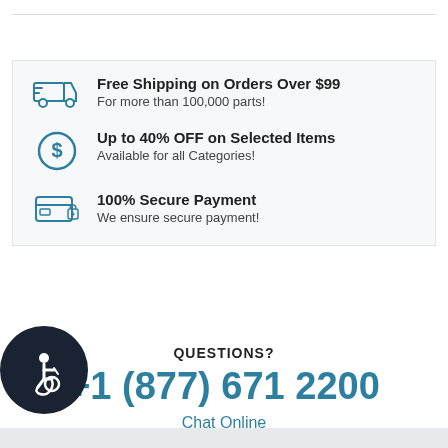Free Shipping on Orders Over $99 — For more than 100,000 parts!
Up to 40% OFF on Selected Items — Available for all Categories!
100% Secure Payment — We ensure secure payment!
QUESTIONS?
+1 (877) 671 2200
Chat Online